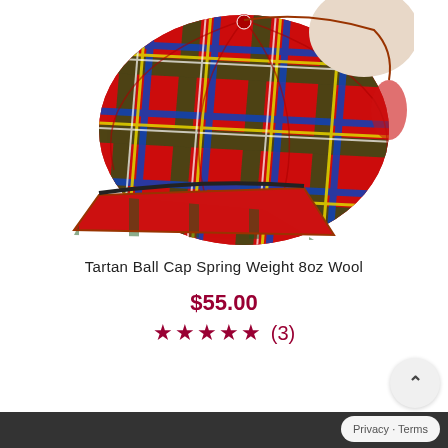[Figure (photo): Red tartan plaid ball cap / baseball cap with a brim, shown at an angle on a white background. The plaid pattern features red, green, blue, yellow, and white lines.]
Tartan Ball Cap Spring Weight 8oz Wool
$55.00
★★★★★ (3)
Privacy · Terms